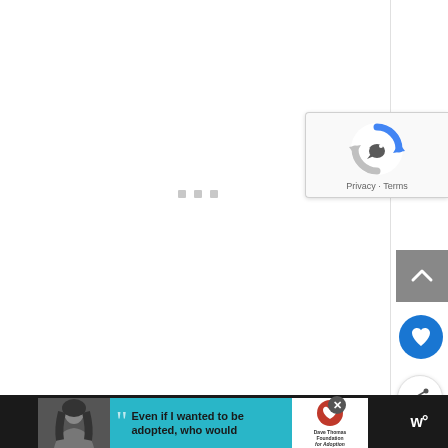[Figure (screenshot): White content area, mostly blank/loading, with three small grey squares indicating a loading state in the center]
[Figure (screenshot): Google reCAPTCHA badge widget on the right side showing reCAPTCHA logo icon and Privacy - Terms text]
[Figure (screenshot): Grey up-arrow scroll-to-top button on the right side]
[Figure (screenshot): Blue circular heart/favorite button on the right side]
[Figure (screenshot): White circular share button with share icon on the right side]
[Figure (screenshot): Advertisement banner at the bottom: teal background with black-and-white photo of a girl, quote mark, text 'Even if I wanted to be adopted, who would', Dave Thomas Foundation for Adoption logo, and close button]
www
Even if I wanted to be adopted, who would
Privacy · Terms